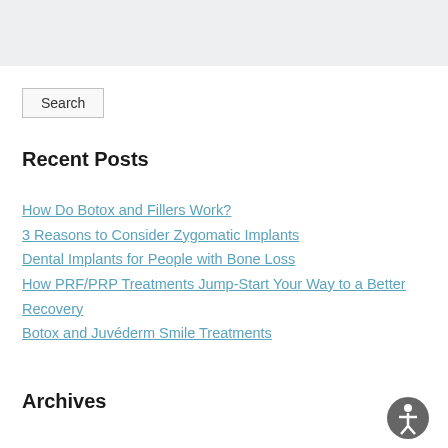Search
Recent Posts
How Do Botox and Fillers Work?
3 Reasons to Consider Zygomatic Implants
Dental Implants for People with Bone Loss
How PRF/PRP Treatments Jump-Start Your Way to a Better Recovery
Botox and Juvéderm Smile Treatments
Archives